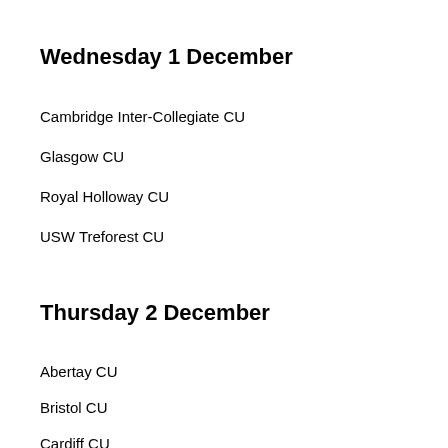Wednesday 1 December
Cambridge Inter-Collegiate CU
Glasgow CU
Royal Holloway CU
USW Treforest CU
Thursday 2 December
Abertay CU
Bristol CU
Cardiff CU